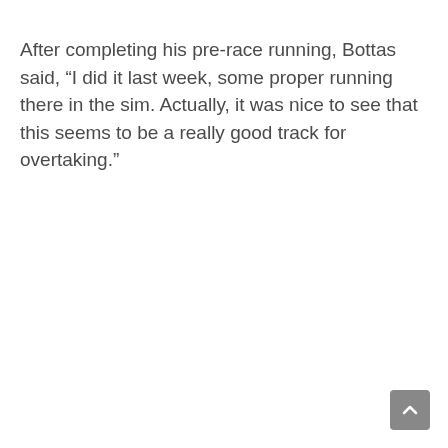After completing his pre-race running, Bottas said, “I did it last week, some proper running there in the sim. Actually, it was nice to see that this seems to be a really good track for overtaking.”